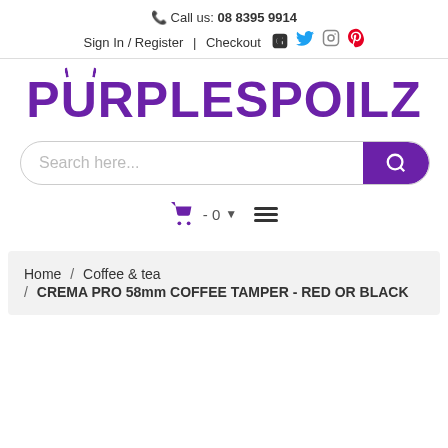📞 Call us: 08 8395 9914
Sign In / Register | Checkout
[Figure (logo): PurpleSpoilz logo in large purple rounded font with cat ears]
[Figure (other): Search bar with purple search button and magnifying glass icon]
[Figure (other): Shopping cart icon with -0 dropdown and hamburger menu]
Home / Coffee & tea / CREMA PRO 58mm COFFEE TAMPER - RED OR BLACK